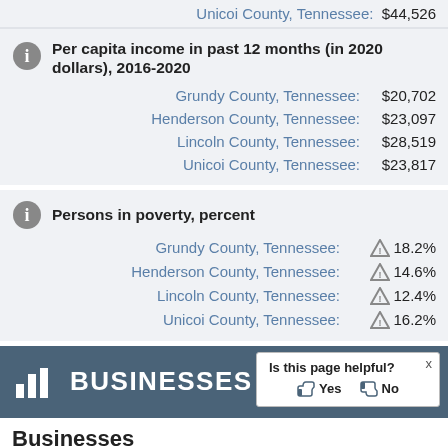Unicoi County, Tennessee: $44,526
Per capita income in past 12 months (in 2020 dollars), 2016-2020
Grundy County, Tennessee: $20,702
Henderson County, Tennessee: $23,097
Lincoln County, Tennessee: $28,519
Unicoi County, Tennessee: $23,817
Persons in poverty, percent
Grundy County, Tennessee: 18.2%
Henderson County, Tennessee: 14.6%
Lincoln County, Tennessee: 12.4%
Unicoi County, Tennessee: 16.2%
BUSINESSES
Businesses